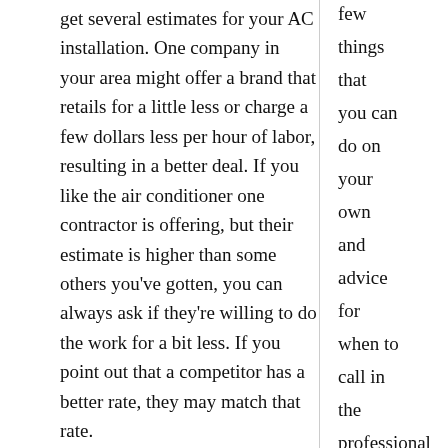get several estimates for your AC installation. One company in your area might offer a brand that retails for a little less or charge a few dollars less per hour of labor, resulting in a better deal. If you like the air conditioner one contractor is offering, but their estimate is higher than some others you've gotten, you can always ask if they're willing to do the work for a bit less. If you point out that a competitor has a better rate, they may match that rate.
3. Have a Friend Do the Removal
few things that you can do on your own and advice for when to call in the professional repair technician